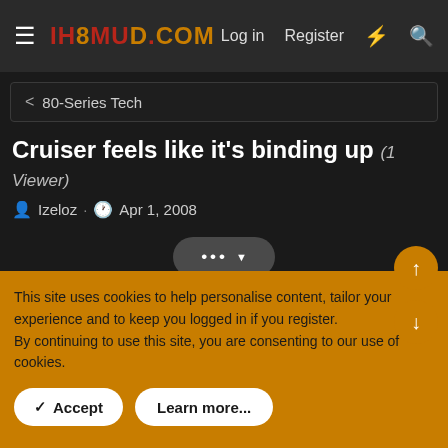IH8MUD.COM — Log in  Register
< 80-Series Tech
Cruiser feels like it's binding up (1 Viewer)
Izeloz · Apr 1, 2008
Izeloz
This site uses cookies to help personalise content, tailor your experience and to keep you logged in if you register.
By continuing to use this site, you are consenting to our use of cookies.
✓ Accept   Learn more...